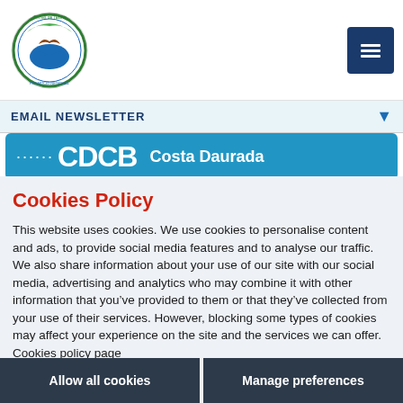[Figure (logo): Terres de l'Ebre regional tourism logo - circular logo with green and blue design]
[Figure (illustration): Dark blue square menu/hamburger button icon]
EMAIL NEWSLETTER ↓
[Figure (logo): CDCB Costa Daurada banner in blue]
Cookies Policy
This website uses cookies. We use cookies to personalise content and ads, to provide social media features and to analyse our traffic. We also share information about your use of our site with our social media, advertising and analytics who may combine it with other information that you've provided to them or that they've collected from your use of their services. However, blocking some types of cookies may affect your experience on the site and the services we can offer. Cookies policy page
Allow all cookies
Manage preferences